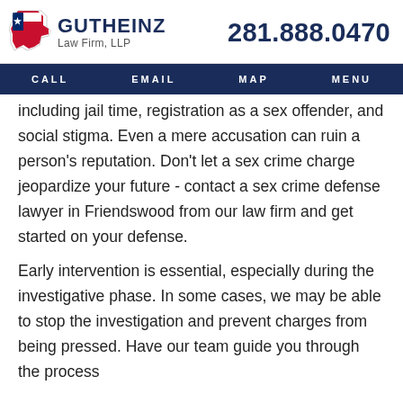[Figure (logo): Gutheinz Law Firm LLP logo with Texas state shape and firm name]
CALL   EMAIL   MAP   MENU
including jail time, registration as a sex offender, and social stigma. Even a mere accusation can ruin a person's reputation. Don't let a sex crime charge jeopardize your future - contact a sex crime defense lawyer in Friendswood from our law firm and get started on your defense.
Early intervention is essential, especially during the investigative phase. In some cases, we may be able to stop the investigation and prevent charges from being pressed. Have our team guide you through the process